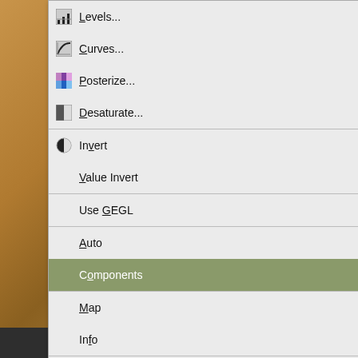[Figure (screenshot): GIMP image editor Colors menu open showing options: Levels, Curves, Posterize, Desaturate, Invert, Value Invert, Use GEGL, Auto (submenu), Components (highlighted, submenu open), Map (submenu), Info (submenu), Color to Alpha, Colorify, Filter Pack, Hot, Maximum RGB, Retinex. Components submenu shows: Channel Mixer, Compose (disabled), Decompose (highlighted), Recompose (disabled). Background is a blurred warm brown photo with Photobucket watermark.]